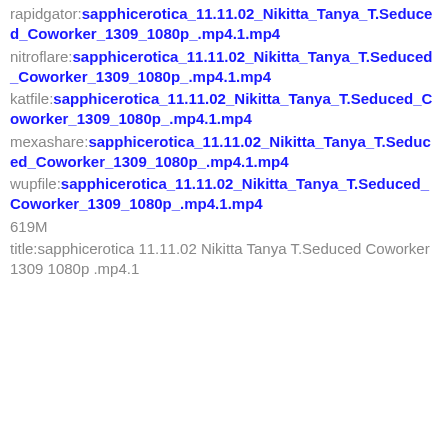rapidgator:sapphicerotica_11.11.02_Nikitta_Tanya_T.Seduced_Coworker_1309_1080p_.mp4.1.mp4
nitroflare:sapphicerotica_11.11.02_Nikitta_Tanya_T.Seduced_Coworker_1309_1080p_.mp4.1.mp4
katfile:sapphicerotica_11.11.02_Nikitta_Tanya_T.Seduced_Coworker_1309_1080p_.mp4.1.mp4
mexashare:sapphicerotica_11.11.02_Nikitta_Tanya_T.Seduced_Coworker_1309_1080p_.mp4.1.mp4
wupfile:sapphicerotica_11.11.02_Nikitta_Tanya_T.Seduced_Coworker_1309_1080p_.mp4.1.mp4
619M
title:sapphicerotica 11.11.02 Nikitta Tanya T.Seduced Coworker 1309 1080p .mp4.1